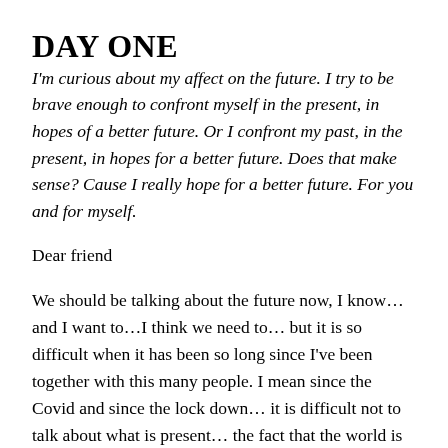DAY ONE
I'm curious about my affect on the future. I try to be brave enough to confront myself in the present, in hopes of a better future. Or I confront my past, in the present, in hopes for a better future. Does that make sense? Cause I really hope for a better future. For you and for myself.
Dear friend
We should be talking about the future now, I know… and I want to…I think we need to… but it is so difficult when it has been so long since I've been together with this many people. I mean since the Covid and since the lock down… it is difficult not to talk about what is present… the fact that the world is changing… and that I so desperately hope that it is for the better… it feels like it is. Don't you feel like it's changing for the better…? I